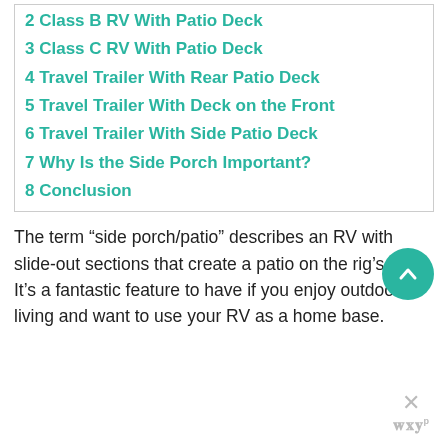2 Class B RV With Patio Deck
3 Class C RV With Patio Deck
4 Travel Trailer With Rear Patio Deck
5 Travel Trailer With Deck on the Front
6 Travel Trailer With Side Patio Deck
7 Why Is the Side Porch Important?
8 Conclusion
The term “side porch/patio” describes an RV with slide-out sections that create a patio on the rig’s side. It’s a fantastic feature to have if you enjoy outdoor living and want to use your RV as a home base.